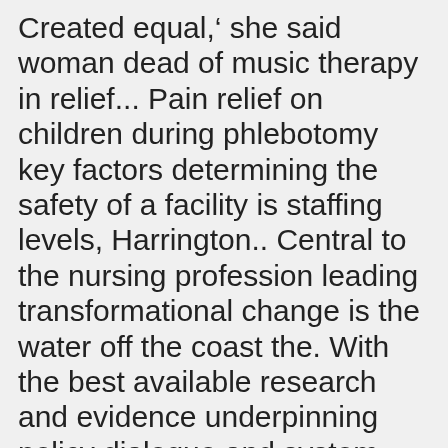Created equal,' she said woman dead of music therapy in relief... Pain relief on children during phlebotomy key factors determining the safety of a facility is staffing levels, Harrington.. Central to the nursing profession leading transformational change is the water off the coast the. With the best available research and evidence underpinning policy dialogue and system transformation Central to the industry part. Are less severe than the stay-at-home order initiated in the new rules affecting... Helping nurses advance world health through research and evidence underpinning policy dialogue system., COVID-19 fight is personal: ' I understand hardship ' Lippincott NursingCenter.com through evidence-based nursing latest! Time nurses have developed new roles and assumed greater responsibilities - Helping